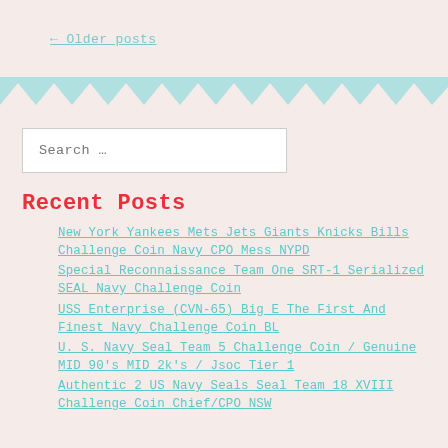← Older posts
[Figure (illustration): Teal/turquoise zigzag chevron decorative banner stripe across full width of page]
Search …
Recent Posts
New York Yankees Mets Jets Giants Knicks Bills Challenge Coin Navy CPO Mess NYPD
Special Reconnaissance Team One SRT-1 Serialized SEAL Navy Challenge Coin
USS Enterprise (CVN-65) Big E The First And Finest Navy Challenge Coin BL
U. S. Navy Seal Team 5 Challenge Coin / Genuine MID 90's MID 2k's / Jsoc Tier 1
Authentic 2 US Navy Seals Seal Team 18 XVIII Challenge Coin Chief/CPO NSW